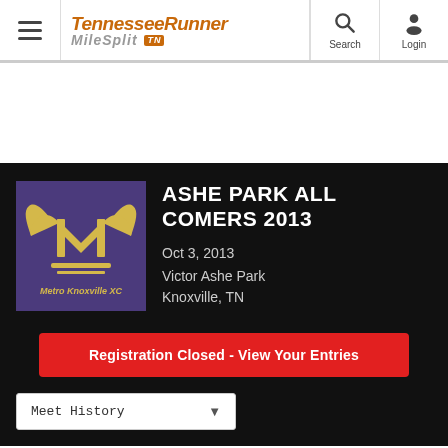TennesseeRunner MileSplit TN — Search | Login
Ashe Park All Comers 2013
Oct 3, 2013
Victor Ashe Park
Knoxville, TN
Registration Closed - View Your Entries
Meet History